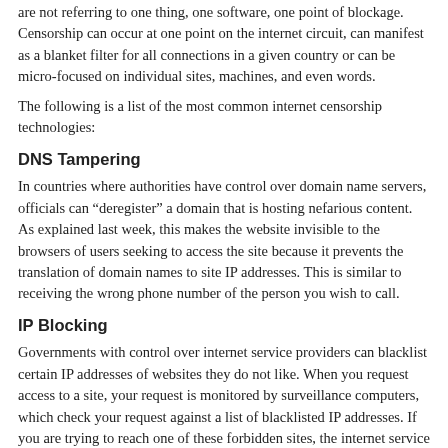are not referring to one thing, one software, one point of blockage. Censorship can occur at one point on the internet circuit, can manifest as a blanket filter for all connections in a given country or can be micro-focused on individual sites, machines, and even words.
The following is a list of the most common internet censorship technologies:
DNS Tampering
In countries where authorities have control over domain name servers, officials can “deregister” a domain that is hosting nefarious content. As explained last week, this makes the website invisible to the browsers of users seeking to access the site because it prevents the translation of domain names to site IP addresses. This is similar to receiving the wrong phone number of the person you wish to call.
IP Blocking
Governments with control over internet service providers can blacklist certain IP addresses of websites they do not like. When you request access to a site, your request is monitored by surveillance computers, which check your request against a list of blacklisted IP addresses. If you are trying to reach one of these forbidden sites, the internet service provider will drop the connection, causing it to fail. For instance, in China